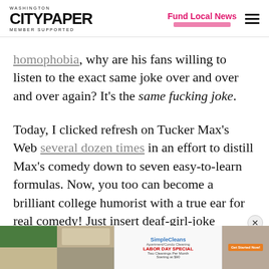Washington City Paper — Member Supported | Fund Local News
homophobia, why are his fans willing to listen to the exact same joke over and over and over again? It's the same fucking joke.
Today, I clicked refresh on Tucker Max's Web several dozen times in an effort to distill Max's comedy down to seven easy-to-learn formulas. Now, you too can become a brilliant college humorist with a true ear for real comedy! Just insert deaf-girl-joke
[Figure (screenshot): SimpliCleans apartment/condo cleaning Labor Day Special advertisement banner at the bottom of the page]